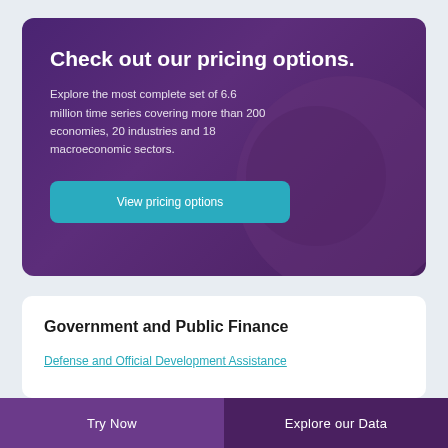Check out our pricing options.
Explore the most complete set of 6.6 million time series covering more than 200 economies, 20 industries and 18 macroeconomic sectors.
View pricing options
Government and Public Finance
Defense and Official Development Assistance
Try Now | Explore our Data